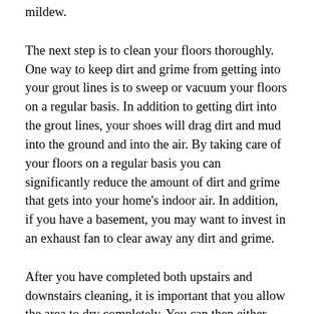mildew.
The next step is to clean your floors thoroughly. One way to keep dirt and grime from getting into your grout lines is to sweep or vacuum your floors on a regular basis. In addition to getting dirt into the grout lines, your shoes will drag dirt and mud into the ground and into the air. By taking care of your floors on a regular basis you can significantly reduce the amount of dirt and grime that gets into your home's indoor air. In addition, if you have a basement, you may want to invest in an exhaust fan to clear away any dirt and grime.
After you have completed both upstairs and downstairs cleaning, it is important that you allow the area to dry completely. You can then either clean the floor or use a wet/dry shop vac to remove and discard the dirt and